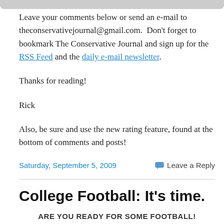Leave your comments below or send an e-mail to theconservativejournal@gmail.com.  Don't forget to bookmark The Conservative Journal and sign up for the RSS Feed and the daily e-mail newsletter.
Thanks for reading!
Rick
Also, be sure and use the new rating feature, found at the bottom of comments and posts!
Saturday, September 5, 2009
Leave a Reply
College Football: It’s time.
ARE YOU READY FOR SOME FOOTBALL!